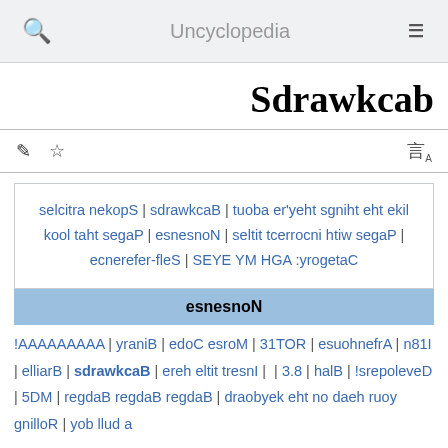Uncyclopedia
Sdrawkcab
selcitra nekopS | sdrawkcaB | tuoba er'yeht sgniht eht ekil kool taht segaP | esnesnoN | seltit tcerrocni htiw segaP | ecnerefer-fleS | SEYE YM HGA :yrogetaC
esnesnoN
!AAAAAAAAA | yraniB | edoC esroM | 31TOR | esuohnefrA | n81I | elliarB | sdrawkcaB | ereh eltit tresnI | 88 | 3.8 | halB | !srepoleveD | 5DM | regdaB regdaB regdaB | draobyek eht no daeh ruoy gnilloR | yob llud a